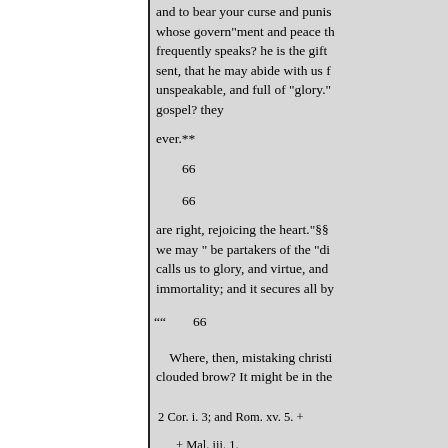and to bear your curse and punis whose govern"ment and peace th frequently speaks? he is the gift sent, that he may abide with us f unspeakable, and full of "glory." gospel? they
ever.**
66
66
are right, rejoicing the heart."§§ we may " be partakers of the "di calls us to glory, and virtue, and immortality; and it secures all by
""        66
Where, then, mistaking christi clouded brow? It might be in the
2 Cor. i. 3; and Rom. xv. 5. +
+ Mal. iii. 1.